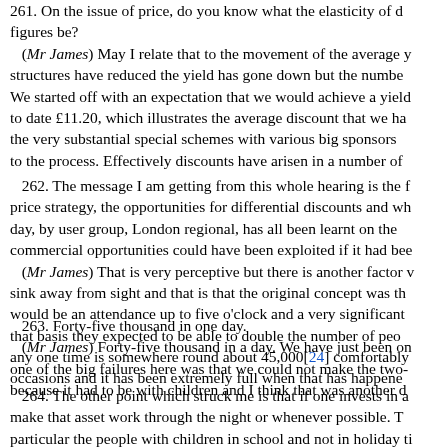261. On the issue of price, do you know what the elasticity of demand might be or what the figures be? (Mr James) May I relate that to the movement of the average y... structures have reduced the yield has gone down but the numbe... We started off with an expectation that we would achieve a yield... to date £11.20, which illustrates the average discount that we h... the very substantial special schemes with various big sponsors... to the process. Effectively discounts have arisen in a number of...
262. The message I am getting from this whole hearing is the f... price strategy, the opportunities for differential discounts and wh... day, by user group, London regional, has all been learnt on the... commercial opportunities could have been exploited if it had be... (Mr James) That is very perceptive but there is another factor v... sink away from sight and that is that the original concept was th... would be an attendance up to five o'clock and a very significant... that basis they expected to be able to double the number of peo... any one time is somewhere round about 45,000[24] comfortably... occasions and it has been extremely full when that has happene...
263. Forty-five thousand in one day. (Mr James) Forty-five thousand in a day. We have just been o... one of the big failures here was that we could not make the two-... because it had to be with children and I think that was another d...
264. The other point which struck me is that if one invests in a... make that asset work through the night or whenever possible. T... particular the people with children in school and not in holiday t... Why do you think the Dome management is so late in even thi...